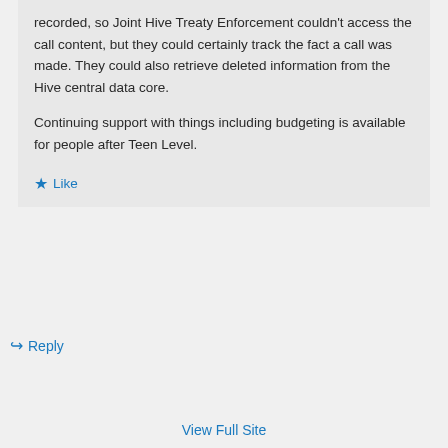recorded, so Joint Hive Treaty Enforcement couldn't access the call content, but they could certainly track the fact a call was made. They could also retrieve deleted information from the Hive central data core.

Continuing support with things including budgeting is available for people after Teen Level.
★ Like
↪ Reply
View Full Site